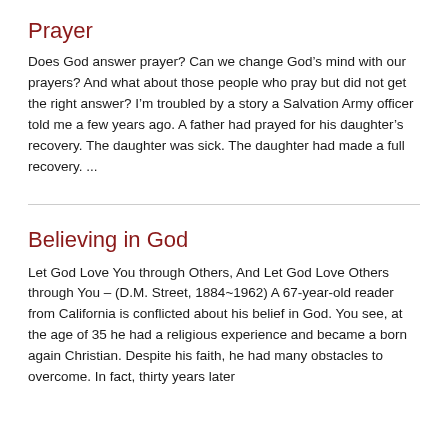Prayer
Does God answer prayer? Can we change God’s mind with our prayers? And what about those people who pray but did not get the right answer? I’m troubled by a story a Salvation Army officer told me a few years ago. A father had prayed for his daughter’s recovery. The daughter was sick. The daughter had made a full recovery. ...
Believing in God
Let God Love You through Others, And Let God Love Others through You – (D.M. Street, 1884~1962) A 67-year-old reader from California is conflicted about his belief in God. You see, at the age of 35 he had a religious experience and became a born again Christian. Despite his faith, he had many obstacles to overcome. In fact, thirty years later